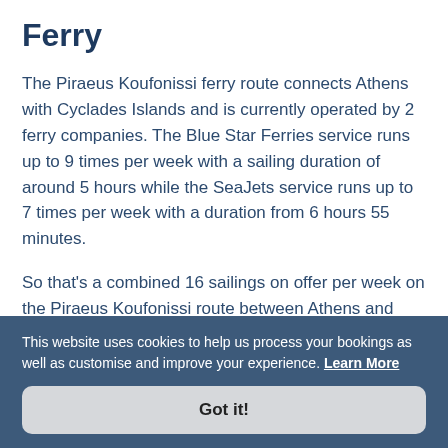Ferry
The Piraeus Koufonissi ferry route connects Athens with Cyclades Islands and is currently operated by 2 ferry companies. The Blue Star Ferries service runs up to 9 times per week with a sailing duration of around 5 hours while the SeaJets service runs up to 7 times per week with a duration from 6 hours 55 minutes.
So that's a combined 16 sailings on offer per week on the Piraeus Koufonissi route between Athens and Cyclades Islands. Compare now and
This website uses cookies to help us process your bookings as well as customise and improve your experience. Learn More
Got it!